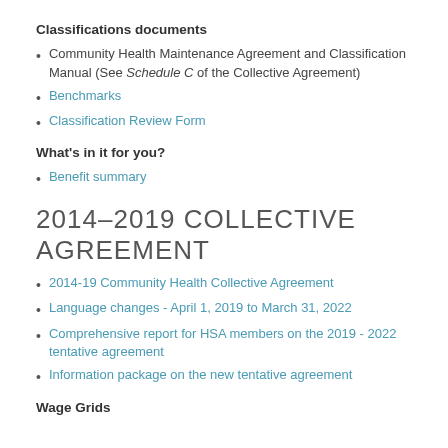Classifications documents
Community Health Maintenance Agreement and Classification Manual (See Schedule C of the Collective Agreement)
Benchmarks
Classification Review Form
What's in it for you?
Benefit summary
2014–2019 COLLECTIVE AGREEMENT
2014-19 Community Health Collective Agreement
Language changes  -  April 1, 2019 to March 31, 2022
Comprehensive report for HSA members on the 2019 - 2022 tentative agreement
Information package on the new tentative agreement
Wage Grids